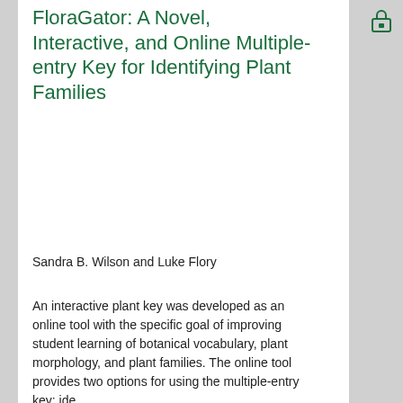FloraGator: A Novel, Interactive, and Online Multiple-entry Key for Identifying Plant Families
Sandra B. Wilson and Luke Flory
An interactive plant key was developed as an online tool with the specific goal of improving student learning of botanical vocabulary, plant morphology, and plant families. The online tool provides two options for using the multiple-entry key: ide
... Show More
Interactive Online Tools for Teaching Plant